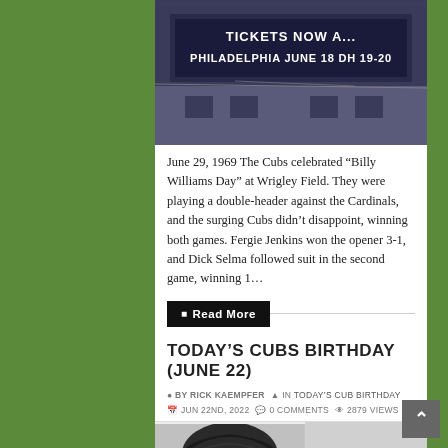[Figure (photo): Black and white photo of a baseball stadium marquee sign reading 'TICKETS NOW A... PHILADELPHIA JUNE 18 DH 19-20' with building facade below]
June 29, 1969 The Cubs celebrated “Billy Williams Day” at Wrigley Field. They were playing a double-header against the Cardinals, and the surging Cubs didn’t disappoint, winning both games. Fergie Jenkins won the opener 3-1, and Dick Selma followed suit in the second game, winning 1…
Read More
TODAY'S CUBS BIRTHDAY (JUNE 22)
BY RICK KAEMPFER  IN TODAY'S CUB BIRTHDAY  JUN 22ND, 2022  0 COMMENTS  2879 VIEWS
[Figure (photo): Black and white portrait photo of a person, showing the top of the head and face partially visible]